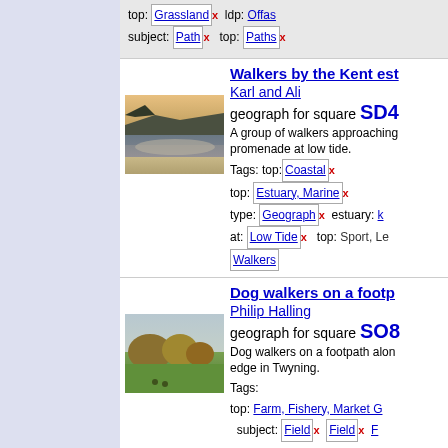top: Grassland x  ldp: Offas... subject: Path x  top: Paths x
Walkers by the Kent est...
Karl and Ali
geograph for square SD4...
A group of walkers approaching... promenade at low tide.
[Figure (photo): Coastal estuary scene at low tide with hills in background]
Tags: top: Coastal x  top: Estuary, Marine x  type: Geograph x  estuary: k...  at: Low Tide x  top: Sport, Le...  Walkers
Dog walkers on a footp...
Philip Halling
geograph for square SO8...
Dog walkers on a footpath alon... edge in Twyning.
[Figure (photo): Dog walkers on a footpath along field edge with trees in Twyning]
Tags: top: Farm, Fishery, Market G...  subject: Field x  Field x  F...  type: Geograph x  top: Paths...